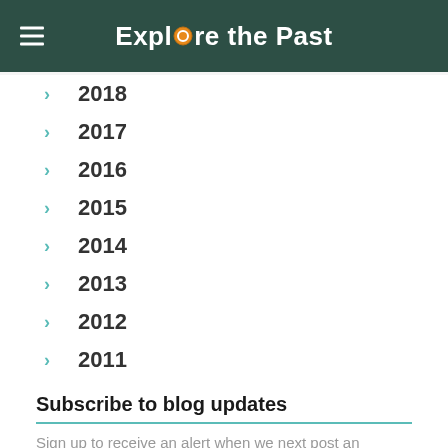Explore the Past
2018
2017
2016
2015
2014
2013
2012
2011
Subscribe to blog updates
Sign up to receive an alert when we next post an